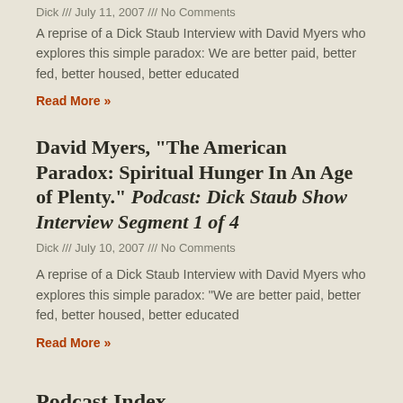Dick /// July 11, 2007 /// No Comments
A reprise of a Dick Staub Interview with David Myers who explores this simple paradox: We are better paid, better fed, better housed, better educated
Read More »
David Myers, “The American Paradox: Spiritual Hunger In An Age of Plenty.” Podcast: Dick Staub Show Interview Segment 1 of 4
Dick /// July 10, 2007 /// No Comments
A reprise of a Dick Staub Interview with David Myers who explores this simple paradox: "We are better paid, better fed, better housed, better educated
Read More »
Podcast Index
admin-2 /// February 18, 2008 /// No Comments